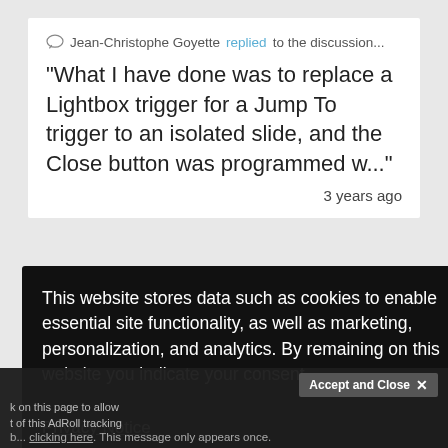Jean-Christophe Goyette replied to the discussion...
"What I have done was to replace a Lightbox trigger for a Jump To trigger to an isolated slide, and the Close button was programmed w..."
3 years ago
...scussion...
...article ...eful. :) I'm
...ers ago
This website stores data such as cookies to enable essential site functionality, as well as marketing, personalization, and analytics. By remaining on this website you indicate your consent.
Privacy Notice
Accept and Close ✕
Y... A... k on this page to allow t of this AdRoll tracking b... clicking here. This message only appears once.